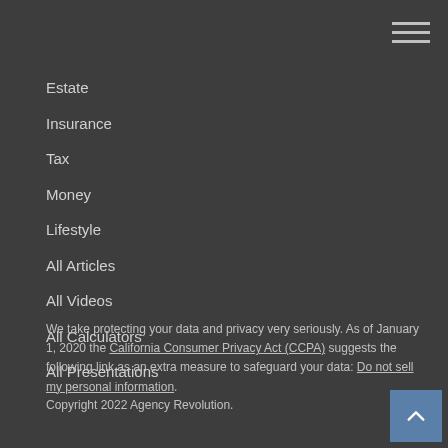Estate
Insurance
Tax
Money
Lifestyle
All Articles
All Videos
All Calculators
All Presentations
We take protecting your data and privacy very seriously. As of January 1, 2020 the California Consumer Privacy Act (CCPA) suggests the following link as an extra measure to safeguard your data: Do not sell my personal information.
Copyright 2022 Agency Revolution.